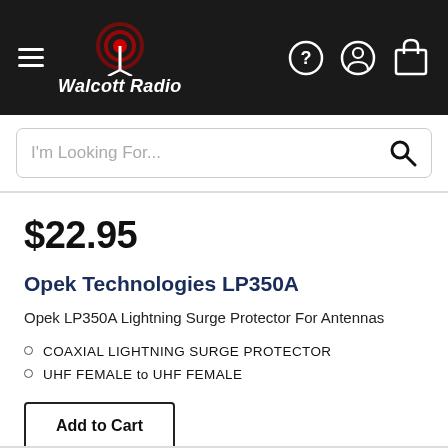Walcott Radio
I'm Looking For...
$22.95
Opek Technologies LP350A
Opek LP350A Lightning Surge Protector For Antennas
COAXIAL LIGHTNING SURGE PROTECTOR
UHF FEMALE to UHF FEMALE
Add to Cart